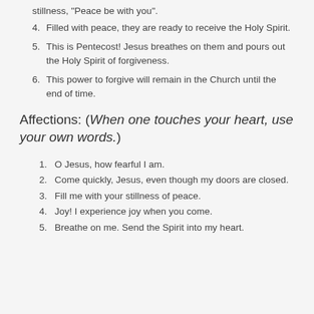stillness, 'Peace be with you'.
4. Filled with peace, they are ready to receive the Holy Spirit.
5. This is Pentecost! Jesus breathes on them and pours out the Holy Spirit of forgiveness.
6. This power to forgive will remain in the Church until the end of time.
Affections: (When one touches your heart, use your own words.)
1. O Jesus, how fearful I am.
2. Come quickly, Jesus, even though my doors are closed.
3. Fill me with your stillness of peace.
4. Joy! I experience joy when you come.
5. Breathe on me. Send the Spirit into my heart.